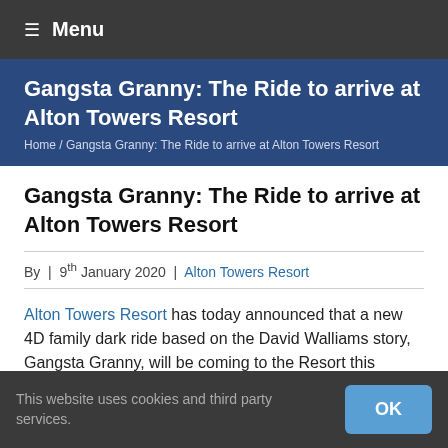≡ Menu
Gangsta Granny: The Ride to arrive at Alton Towers Resort
Home / Gangsta Granny: The Ride to arrive at Alton Towers Resort
Gangsta Granny: The Ride to arrive at Alton Towers Resort
By  |  9th January 2020  |  Alton Towers Resort
Alton Towers Resort has today announced that a new 4D family dark ride based on the David Walliams story, Gangsta Granny, will be coming to the Resort this spring.
Gangsta Granny: The Ride will invite guests to take a tour
This website uses cookies and third party services.